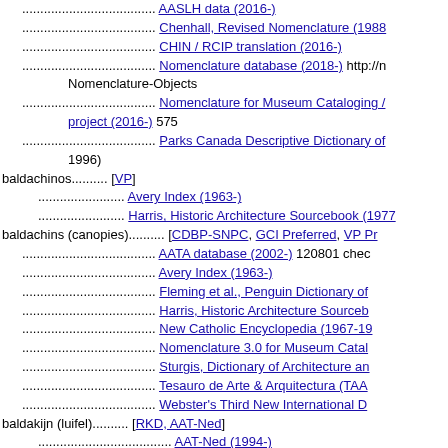..................................... AASLH data (2016-)
..................................... Chenhall, Revised Nomenclature (1988-
..................................... CHIN / RCIP translation (2016-)
..................................... Nomenclature database (2018-) http://n Nomenclature-Objects
..................................... Nomenclature for Museum Cataloging / project (2016-) 575
..................................... Parks Canada Descriptive Dictionary of 1996)
baldachinos.............. [VP]
........................ Avery Index (1963-)
........................ Harris, Historic Architecture Sourcebook (1977
baldachins (canopies).............. [CDBP-SNPC, GCI Preferred, VP Pr
..................................... AATA database (2002-) 120801 chec
..................................... Avery Index (1963-)
..................................... Fleming et al., Penguin Dictionary of
..................................... Harris, Historic Architecture Sourceb
..................................... New Catholic Encyclopedia (1967-19
..................................... Nomenclature 3.0 for Museum Catal
..................................... Sturgis, Dictionary of Architecture an
..................................... Tesauro de Arte & Arquitectura (TAA
..................................... Webster's Third New International D
baldakijn (luifel).............. [RKD, AAT-Ned]
..................................... AAT-Ned (1994-)
..................................... Dictionary of building construction (1959)
baldakijnen.............. [RKD, AAT-Ned Preferred]